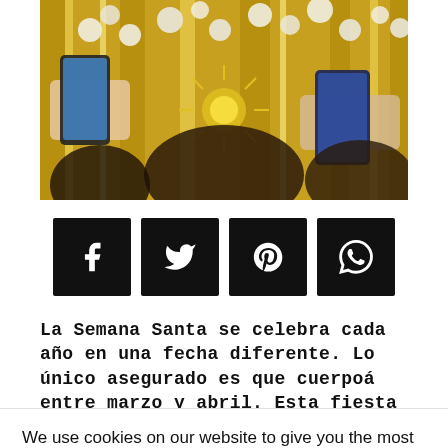[Figure (photo): People photographing a religious ornate display with gold decorations and white flowers; hands holding phones visible in foreground]
[Figure (infographic): Four social share buttons (Facebook, Twitter, Pinterest, WhatsApp) as black square icons]
La Semana Santa se celebra cada año en una fecha diferente. Lo único asegurado es que cuerpoá entre marzo y abril. Esta fiesta depende del
We use cookies on our website to give you the most relevant experience by remembering your preferences and repeat visits. By clicking “Accept”, you consent to the use of ALL the cookies.
Do not sell my personal information.
Cookie settings
ACCEPT